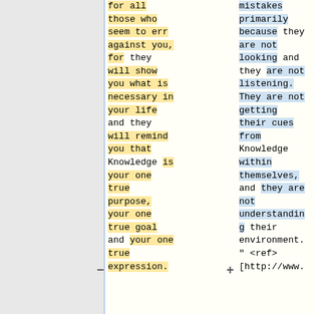for all those who seem to err against you, for they will show you what is necessary in your life and they will remind you that Knowledge is your one true purpose, your one true goal and your one true expression.
mistakes primarily because they are not looking and they are not listening. They are not getting their cues from Knowledge within themselves, and they are not understanding their environment. " <ref>[http://www.